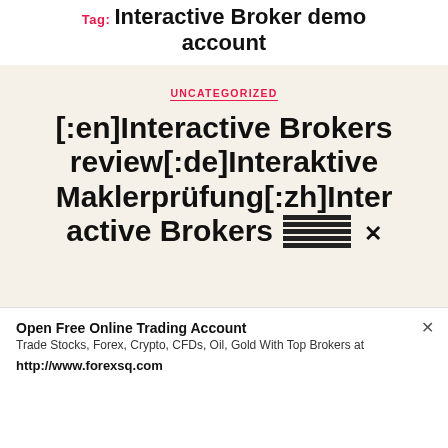Tag: Interactive Broker demo account
UNCATEGORIZED
[:en]Interactive Brokers review[:de]Interaktive Maklerprüfung[:zh]Interactive Brokers
Open Free Online Trading Account
Trade Stocks, Forex, Crypto, CFDs, Oil, Gold With Top Brokers at
http://www.forexsq.com